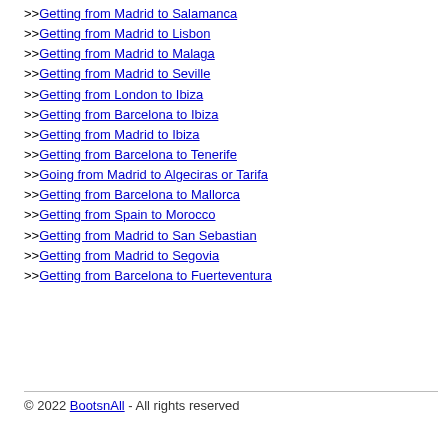>>Getting from Madrid to Salamanca
>>Getting from Madrid to Lisbon
>>Getting from Madrid to Malaga
>>Getting from Madrid to Seville
>>Getting from London to Ibiza
>>Getting from Barcelona to Ibiza
>>Getting from Madrid to Ibiza
>>Getting from Barcelona to Tenerife
>>Going from Madrid to Algeciras or Tarifa
>>Getting from Barcelona to Mallorca
>>Getting from Spain to Morocco
>>Getting from Madrid to San Sebastian
>>Getting from Madrid to Segovia
>>Getting from Barcelona to Fuerteventura
© 2022 BootsnAll - All rights reserved